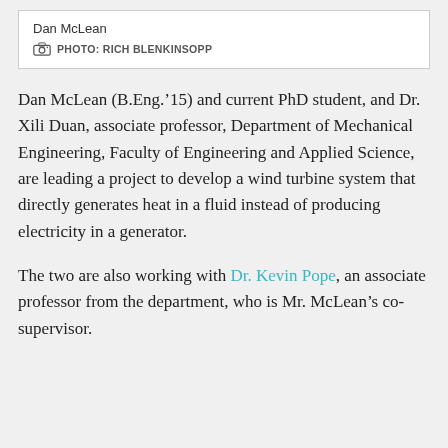[Figure (photo): Photo box with name 'Dan McLean' and photo credit 'PHOTO: RICH BLENKINSOPP']
Dan McLean
PHOTO: RICH BLENKINSOPP
Dan McLean (B.Eng.’15) and current PhD student, and Dr. Xili Duan, associate professor, Department of Mechanical Engineering, Faculty of Engineering and Applied Science, are leading a project to develop a wind turbine system that directly generates heat in a fluid instead of producing electricity in a generator.
The two are also working with Dr. Kevin Pope, an associate professor from the department, who is Mr. McLean’s co-supervisor.